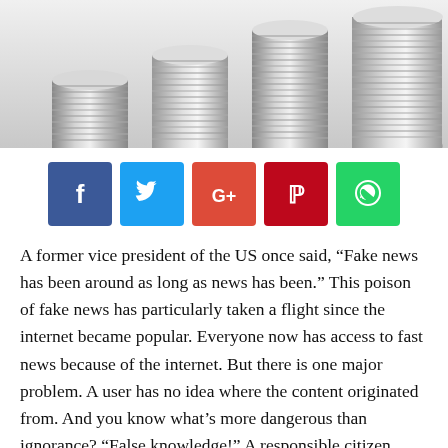[Figure (photo): Photo of multiple stacks of silver coins arranged in ascending height order on a white background]
[Figure (infographic): Social media share buttons: Facebook (blue), Twitter (light blue), Google+ (red-orange), Pinterest (red), WhatsApp (green)]
A former vice president of the US once said, “Fake news has been around as long as news has been.” This poison of fake news has particularly taken a flight since the internet became popular. Everyone now has access to fast news because of the internet. But there is one major problem. A user has no idea where the content originated from. And you know what’s more dangerous than ignorance? “False knowledge!” A responsible citizen must first conduct thorough research before believing anything.